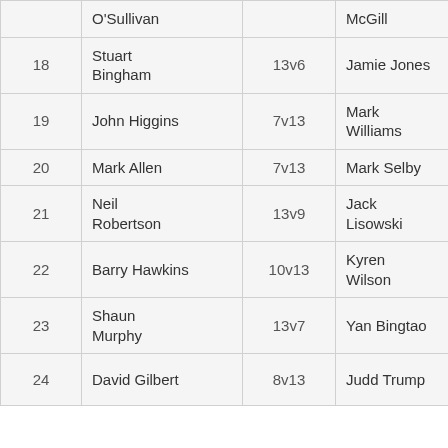| # | Player 1 | Score | Player 2 |  |
| --- | --- | --- | --- | --- |
|  | O'Sullivan |  | McGill |  |
| 18 | Stuart Bingham | 13v6 | Jamie Jones |  |
| 19 | John Higgins | 7v13 | Mark Williams |  |
| 20 | Mark Allen | 7v13 | Mark Selby |  |
| 21 | Neil Robertson | 13v9 | Jack Lisowski |  |
| 22 | Barry Hawkins | 10v13 | Kyren Wilson |  |
| 23 | Shaun Murphy | 13v7 | Yan Bingtao |  |
| 24 | David Gilbert | 8v13 | Judd Trump | ↑ |